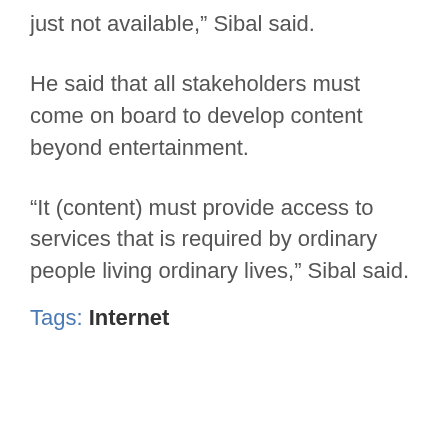just not available,” Sibal said.
He said that all stakeholders must come on board to develop content beyond entertainment.
“It (content) must provide access to services that is required by ordinary people living ordinary lives,” Sibal said.
Tags: Internet